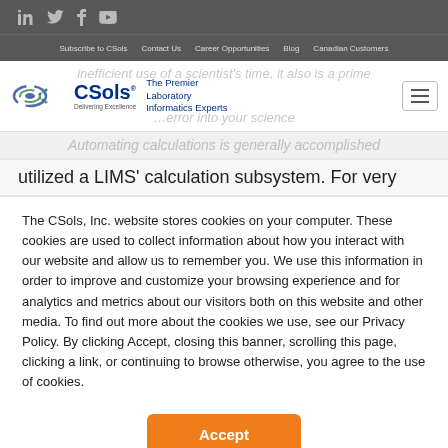Social icons: LinkedIn, Twitter, Facebook, YouTube
Subscribe to CSols  Contact Us  Career Opportunities  Blog  Canadian Customers
[Figure (logo): CSols logo with tagline 'The Premier Laboratory Informatics Experts']
utilized a LIMS' calculation subsystem.  For very
The CSols, Inc. website stores cookies on your computer. These cookies are used to collect information about how you interact with our website and allow us to remember you. We use this information in order to improve and customize your browsing experience and for analytics and metrics about our visitors both on this website and other media. To find out more about the cookies we use, see our Privacy Policy. By clicking Accept, closing this banner, scrolling this page, clicking a link, or continuing to browse otherwise, you agree to the use of cookies.
Accept